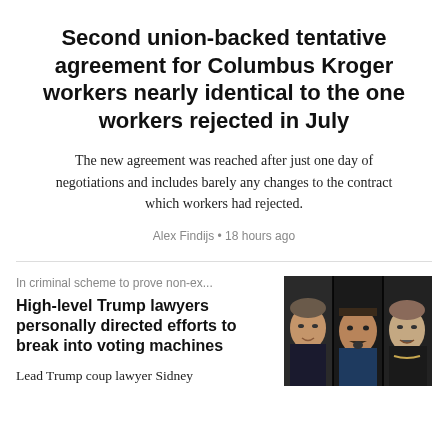Second union-backed tentative agreement for Columbus Kroger workers nearly identical to the one workers rejected in July
The new agreement was reached after just one day of negotiations and includes barely any changes to the contract which workers had rejected.
Alex Findijs • 18 hours ago
In criminal scheme to prove non-ex...
High-level Trump lawyers personally directed efforts to break into voting machines
Lead Trump coup lawyer Sidney
[Figure (photo): Three public figures shown in a collage: a man in a suit on the left, a man with a mustache in the center, and a woman on the right.]